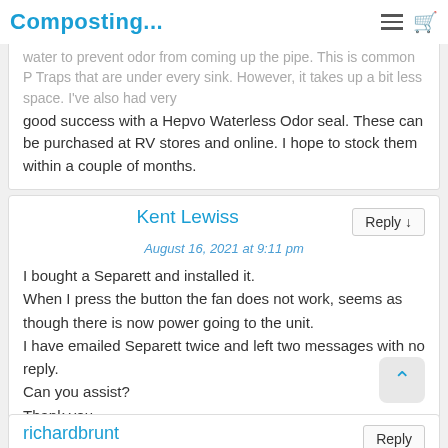Composting...
water to prevent odor from coming up the pipe. This is common P Traps that are under every sink. However, it takes up a bit less space. I've also had very good success with a Hepvo Waterless Odor seal. These can be purchased at RV stores and online. I hope to stock them within a couple of months.
Kent Lewiss
August 16, 2021 at 9:11 pm
I bought a Separett and installed it.
When I press the button the fan does not work, seems as though there is now power going to the unit.
I have emailed Separett twice and left two messages with no reply.
Can you assist?
Thank you.
richardbrunt